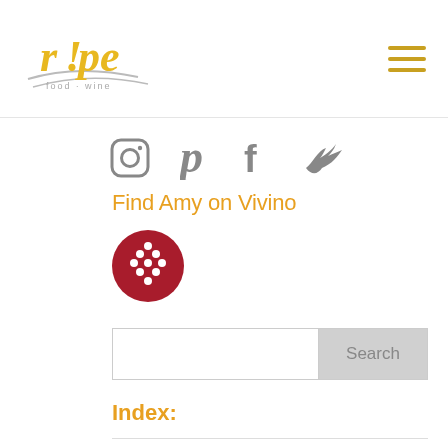[Figure (logo): Ripe food and wine logo in yellow/gold cursive with grey swoosh lines beneath]
[Figure (illustration): Hamburger menu icon with three horizontal yellow/gold lines]
[Figure (illustration): Social media icons row: Instagram, Pinterest, Facebook, Twitter in grey]
Find Amy on Vivino
[Figure (logo): Vivino logo: dark red circle with white dotted grape cluster icon]
[Figure (other): Search input field with grey Search button]
Index:
* Make it Ahead of Time
* No-recipe Recipes
* Slow Cooker